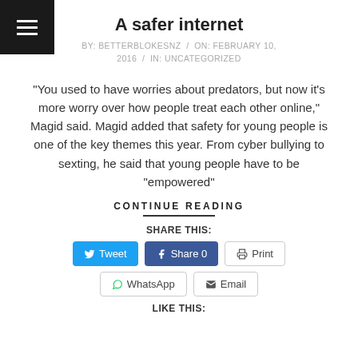≡
A safer internet
BY: BETTERBLOKESNZ / ON: FEBRUARY 10, 2016 / IN: UNCATEGORIZED
“You used to have worries about predators, but now it’s more worry over how people treat each other online,” Magid said. Magid added that safety for young people is one of the key themes this year. From cyber bullying to sexting, he said that young people have to be “empowered”
CONTINUE READING
SHARE THIS:
Tweet | Share 0 | Print | WhatsApp | Email
LIKE THIS: